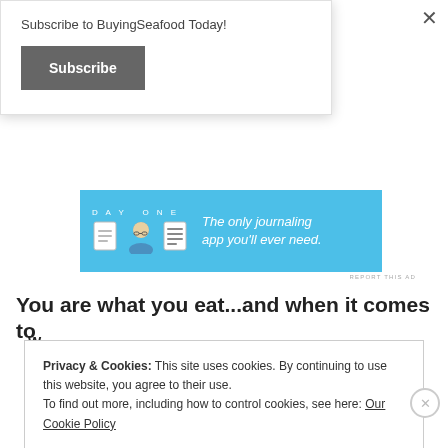Subscribe to BuyingSeafood Today!
Subscribe
[Figure (illustration): Day One journaling app advertisement banner with blue background, three app icons, text: DAY ONE - The only journaling app you'll ever need.]
REPORT THIS AD
You are what you eat...and when it comes to
Privacy & Cookies: This site uses cookies. By continuing to use this website, you agree to their use.
To find out more, including how to control cookies, see here: Our Cookie Policy
Close and accept